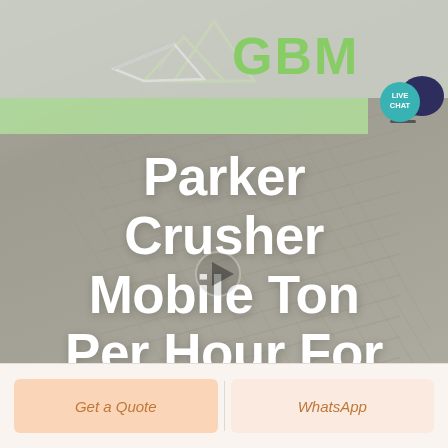[Figure (logo): GBM logo with mountain/paper plane icon and green GBM text]
[Figure (other): Live Chat bubble button in teal/dark blue]
[Figure (screenshot): Website hero section with background image of open book/papers, featuring hamburger menu icon and green navigation bar]
Parker Crusher Mobile Ton Per Hour For Sale
Get a Quote
WhatsApp